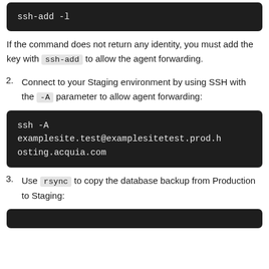[Figure (screenshot): Dark code block showing: ssh-add -l]
If the command does not return any identity, you must add the key with ssh-add to allow the agent forwarding.
2. Connect to your Staging environment by using SSH with the -A parameter to allow agent forwarding:
[Figure (screenshot): Dark code block showing: ssh -A examplesite.test@examplesitetest.prod.hosting.acquia.com]
3. Use rsync to copy the database backup from Production to Staging:
[Figure (screenshot): Dark code block (partially visible at bottom)]